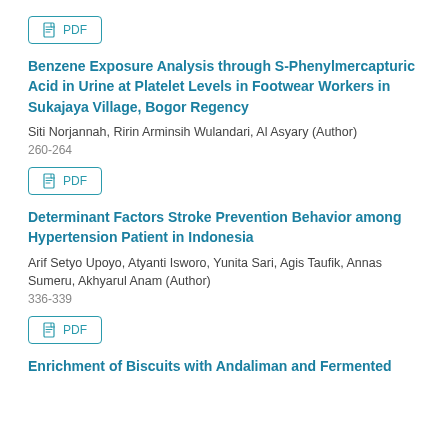PDF (button)
Benzene Exposure Analysis through S-Phenylmercapturic Acid in Urine at Platelet Levels in Footwear Workers in Sukajaya Village, Bogor Regency
Siti Norjannah, Ririn Arminsih Wulandari, Al Asyary (Author)
260-264
PDF (button)
Determinant Factors Stroke Prevention Behavior among Hypertension Patient in Indonesia
Arif Setyo Upoyo, Atyanti Isworo, Yunita Sari, Agis Taufik, Annas Sumeru, Akhyarul Anam (Author)
336-339
PDF (button)
Enrichment of Biscuits with Andaliman and Fermented